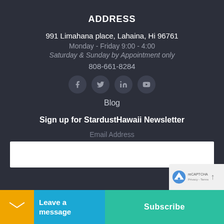ADDRESS
991 Limahana place, Lahaina, Hi 96761
Monday - Friday 9:00 - 4:00
Saturday & Sunday by Appointment only
808-661-8284
[Figure (other): Social media icons: Facebook, Twitter, LinkedIn, YouTube]
Blog
Sign up for StardustHawaii Newsletter
Email Address
[Figure (other): Email address input text field (white box)]
[Figure (other): reCAPTCHA badge with logo, Privacy and Terms text]
Leave a message
Subscribe